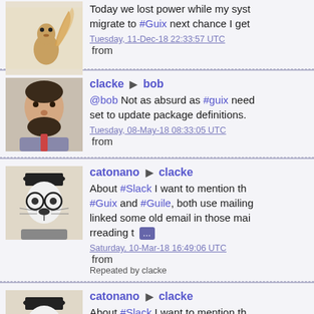Today we lost power while my syst migrate to #Guix next chance I get Tuesday, 11-Dec-18 22:33:57 UTC from
clacke ▶ bob @bob Not as absurd as #guix need set to update package definitions. Tuesday, 08-May-18 08:33:05 UTC from
catonano ▶ clacke About #Slack I want to mention th #Guix and #Guile, both use mailing linked some old email in those mai rreading t [...] Saturday, 10-Mar-18 16:49:06 UTC from Repeated by clacke
catonano ▶ clacke About #Slack I want to mention th #Guix and #Guile, both use mailing linked some old email in those mai rreading t [...] Saturday, 10-Mar-18 16:49:06 UTC fro